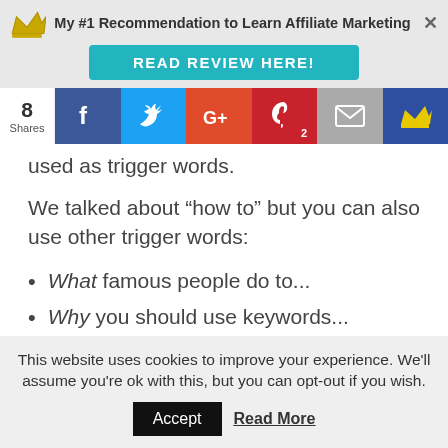My #1 Recommendation to Learn Affiliate Marketing
[Figure (infographic): Social share bar with Facebook, Twitter, Google+, Pinterest (2), Email, and crown icon buttons. Shows 8 Shares.]
used as trigger words.
We talked about “how to” but you can also use other trigger words:
What famous people do to...
Why you should use keywords...
This website uses cookies to improve your experience. We'll assume you're ok with this, but you can opt-out if you wish.
Accept   Read More